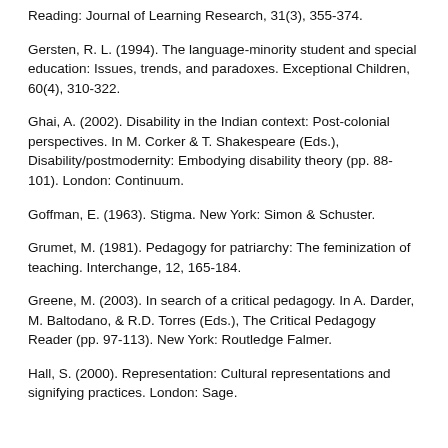Reading: Journal of Learning Research, 31(3), 355-374.
Gersten, R. L. (1994). The language-minority student and special education: Issues, trends, and paradoxes. Exceptional Children, 60(4), 310-322.
Ghai, A. (2002). Disability in the Indian context: Post-colonial perspectives. In M. Corker & T. Shakespeare (Eds.), Disability/postmodernity: Embodying disability theory (pp. 88-101). London: Continuum.
Goffman, E. (1963). Stigma. New York: Simon & Schuster.
Grumet, M. (1981). Pedagogy for patriarchy: The feminization of teaching. Interchange, 12, 165-184.
Greene, M. (2003). In search of a critical pedagogy. In A. Darder, M. Baltodano, & R.D. Torres (Eds.), The Critical Pedagogy Reader (pp. 97-113). New York: Routledge Falmer.
Hall, S. (2000). Representation: Cultural representations and signifying practices. London: Sage.